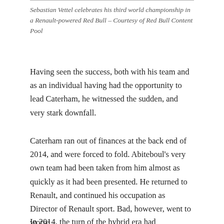Sebastian Vettel celebrates his third world championship in a Renault-powered Red Bull – Courtesy of Red Bull Content Pool
Having seen the success, both with his team and as an individual having had the opportunity to lead Caterham, he witnessed the sudden, and very stark downfall.
Caterham ran out of finances at the back end of 2014, and were forced to fold. Abiteboul's very own team had been taken from him almost as quickly as it had been presented. He returned to Renault, and continued his occupation as Director of Renault sport. Bad, however, went to worse.
In 2014, the turn of the hybrid era had...